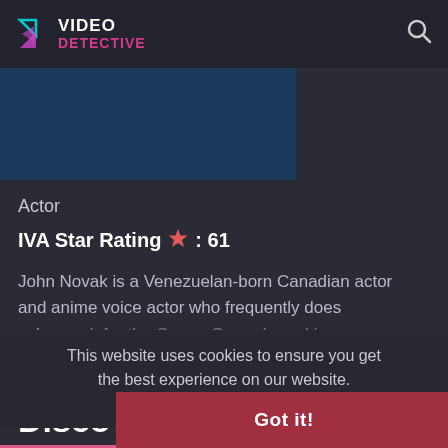VIDEO DETECTIVE
[Figure (other): Thumbnail image area — dark blue rectangle]
Actor
IVA Star Rating ★ : 61
John Novak is a Venezuelan-born Canadian actor and anime voice actor who frequently does voice work for the Ocean Group based in Vancouver...
This website uses cookies to ensure you get the best experience on our website. Learn more
Got it!
Discover